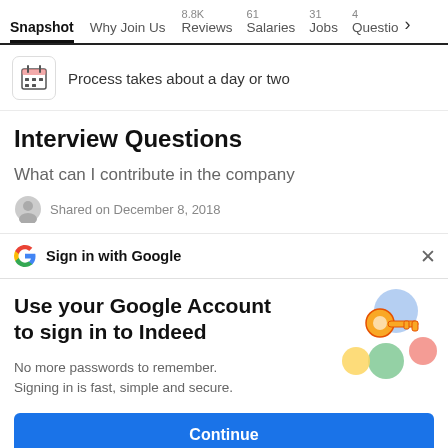Snapshot  Why Join Us  8.8K Reviews  61 Salaries  31 Jobs  4 Questio >
Process takes about a day or two
Interview Questions
What can I contribute in the company
Shared on December 8, 2018
Sign in with Google
Use your Google Account to sign in to Indeed
No more passwords to remember. Signing in is fast, simple and secure.
Continue